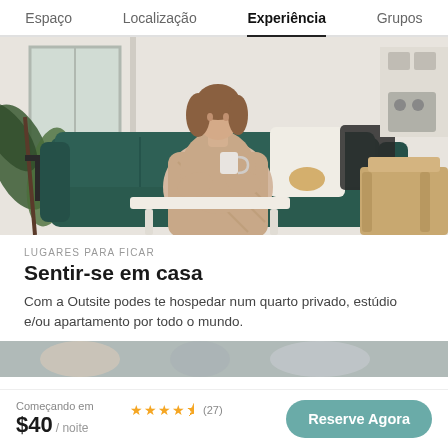Espaço   Localização   Experiência   Grupos
[Figure (photo): Woman sitting on a dark green tufted sofa wrapped in a blanket, holding a mug, with plants and kitchen visible in background]
LUGARES PARA FICAR
Sentir-se em casa
Com a Outsite podes te hospedar num quarto privado, estúdio e/ou apartamento por todo o mundo.
[Figure (photo): Partial preview of another photo at the bottom]
Começando em $40 / noite  ★★★★½ (27)
Reserve Agora